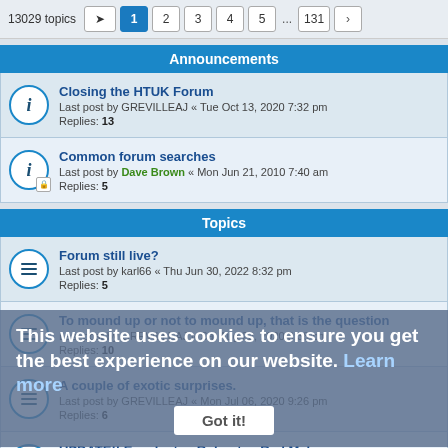13029 topics  1 2 3 4 5 ... 131
Announcements
Closing the HTUK Forum
Last post by GREVILLEAJ « Tue Oct 13, 2020 7:32 pm
Replies: 13
Common forum searches
Last post by Dave Brown « Mon Jun 21, 2010 7:40 am
Replies: 5
Topics
Forum still live?
Last post by karl66 « Thu Jun 30, 2022 8:32 pm
Replies: 5
To mound up or not to mound up, that is the question
Last post by GREVILLEAJ « Sat Aug 22, 2020 3:38 pm
Replies: 10
A couple of exotic surprises.
Last post by GREVILLEAJ « Mon Jul 06, 2020 9:26 pm
Replies: 6
UPDATE!! Eucalyptus Robusta - Red Mahogany
Last post by GREVILLEAJ « Sat Jun 13, 2020 9:18 pm
Replies: 2
Irrigation systems
Last post by TheHiphopfarmer « Fri May 29, 2020 8:38 am
Replies: 2
This website uses cookies to ensure you get the best experience on our website. Learn more
Got it!